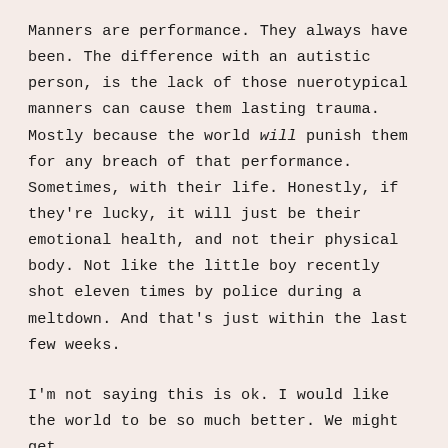Manners are performance. They always have been. The difference with an autistic person, is the lack of those nuerotypical manners can cause them lasting trauma. Mostly because the world will punish them for any breach of that performance. Sometimes, with their life. Honestly, if they're lucky, it will just be their emotional health, and not their physical body. Not like the little boy recently shot eleven times by police during a meltdown. And that's just within the last few weeks.
I'm not saying this is ok. I would like the world to be so much better. We might get